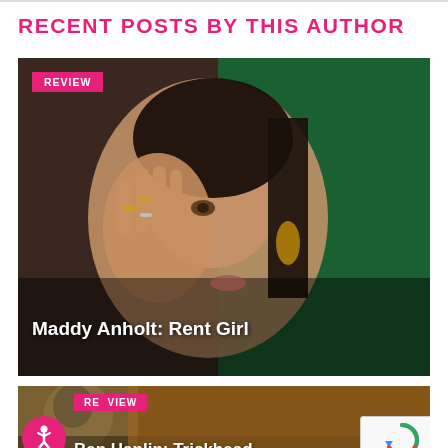RECENT POSTS BY THIS AUTHOR
[Figure (photo): Photo of a woman with dark hair holding her hand up to her face, wearing multiple rings and large earrings, against a green background. Overlay badge reads REVIEW and title reads Maddy Anholt: Rent Girl]
[Figure (photo): Partial photo of a person. Overlay badge reads REVIEW and partial title reads Ben Hanlin: Trickhead. Accessibility icon visible at bottom left. reCAPTCHA badge at bottom right.]